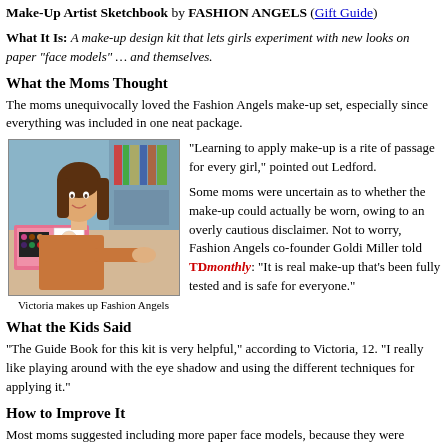Make-Up Artist Sketchbook by FASHION ANGELS (Gift Guide)
What It Is: A make-up design kit that lets girls experiment with new looks on paper "face models" … and themselves.
What the Moms Thought
The moms unequivocally loved the Fashion Angels make-up set, especially since everything was included in one neat package.
[Figure (photo): A girl sitting at a table with a pink Fashion Angels make-up kit, drawing or applying make-up on face models.]
Victoria makes up Fashion Angels
"Learning to apply make-up is a rite of passage for every girl," pointed out Ledford.
Some moms were uncertain as to whether the make-up could actually be worn, owing to an overly cautious disclaimer. Not to worry, Fashion Angels co-founder Goldi Miller told TDmonthly: "It is real make-up that's been fully tested and is safe for everyone."
What the Kids Said
"The Guide Book for this kit is very helpful," according to Victoria, 12. "I really like playing around with the eye shadow and using the different techniques for applying it."
How to Improve It
Most moms suggested including more paper face models, because they were quickly used up, though, as Costine pointed out, it just means that "you